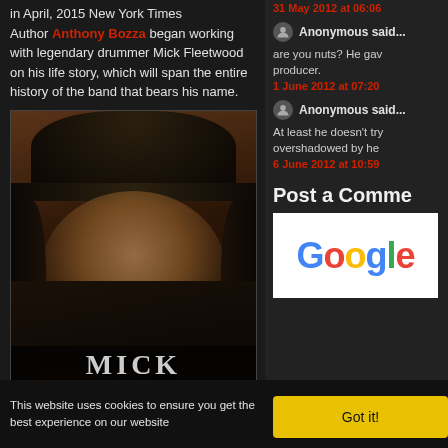in April, 2015 New York Times Author Anthony Bozza began working with legendary drummer Mick Fleetwood on his life story, which will span the entire history of the band that bears his name.
[Figure (photo): Book cover of 'Play On' by Mick Fleetwood with Anthony Bozza. Shows a man with long dark hair and beard wearing a top hat. Text reads: MICK FLEETWOOD, a Anthony Bozza, NOW, THEN, AND FLEETWOOD MAC, PLAY ON]
31 May 2012 at 06:06
Anonymous said...
are you nuts? He gav producer.
1 June 2012 at 07:20
Anonymous said...
At least he doesn't try overshadowed by he
6 June 2012 at 10:59
Post a Comme
[Figure (logo): Google logo]
This website uses cookies to ensure you get the best experience on our website
Got it!